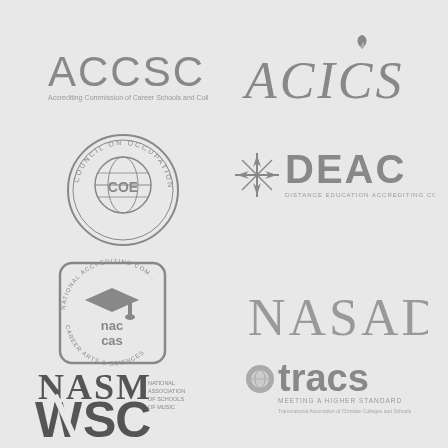[Figure (logo): ACCSC - Accrediting Commission of Career Schools and Colleges logo]
[Figure (logo): ACICS logo with flame]
[Figure (logo): COE - Council on Occupational Education circular seal logo]
[Figure (logo): DEAC - Distance Education Accrediting Commission logo with star]
[Figure (logo): NACCAS - National Accrediting Commission of Career Arts and Sciences logo]
[Figure (logo): NASAD logo]
[Figure (logo): NASM - National Association of Schools of Music logo]
[Figure (logo): TRACS - Meeting a Higher Standard, Transnational Association of Christian Colleges and Schools logo]
[Figure (logo): WASC logo]